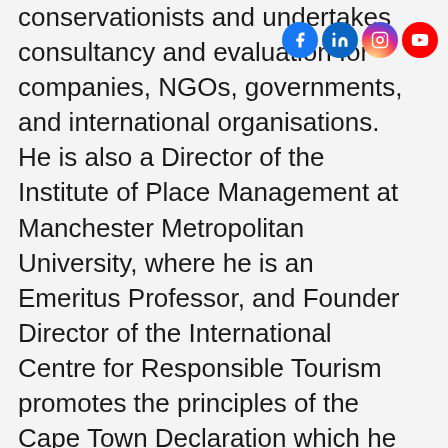conservationists and undertakes consultancy and evaluation for companies, NGOs, governments, and international organisations. He is also a Director of the Institute of Place Management at Manchester Metropolitan University, where he is an Emeritus Professor, and Founder Director of the International Centre for Responsible Tourism promotes the principles of the Cape Town Declaration which he drafted.
[Figure (other): Social media icons: Facebook, LinkedIn, Instagram, YouTube]
[Figure (other): Link icon (chain/hyperlink symbol) and scroll-to-top arrow button]
PREVIOUS: ‹ I have glimpsed the future of tourism – and